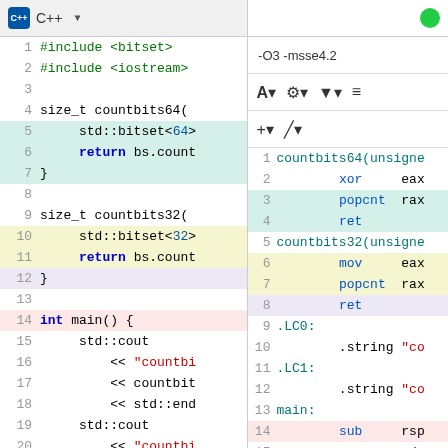[Figure (screenshot): Compiler Explorer (godbolt.org) screenshot showing C++ source code on the left panel and assembly output on the right panel. Left panel shows C++ code with #include directives and functions countbits64, countbits32, and main. Right panel shows compiled assembly with -O3 -msse4.2 flags, including popcnt instructions and function labels.]